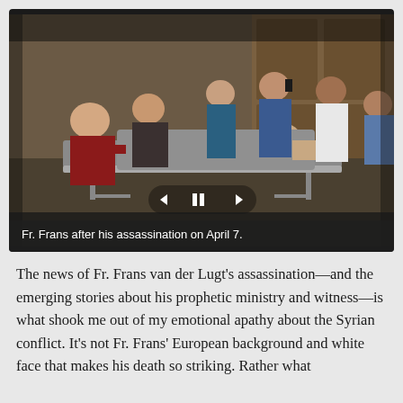[Figure (photo): A photo of Fr. Frans van der Lugt on a stretcher being attended to by medical personnel and bystanders after his assassination on April 7. Multiple people surround the gurney in what appears to be a hospital or building entrance.]
Fr. Frans after his assassination on April 7.
The news of Fr. Frans van der Lugt's assassination—and the emerging stories about his prophetic ministry and witness—is what shook me out of my emotional apathy about the Syrian conflict. It's not Fr. Frans' European background and white face that makes his death so striking. Rather what